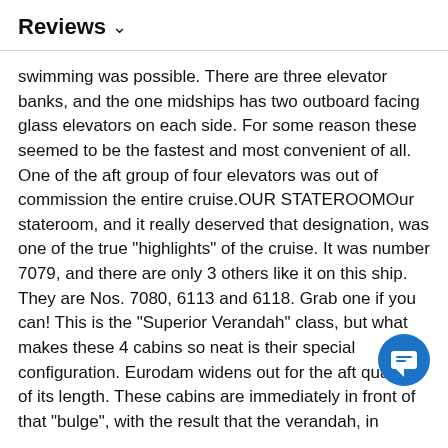Reviews ∨
swimming was possible. There are three elevator banks, and the one midships has two outboard facing glass elevators on each side. For some reason these seemed to be the fastest and most convenient of all. One of the aft group of four elevators was out of commission the entire cruise.OUR STATEROOMOur stateroom, and it really deserved that designation, was one of the true "highlights" of the cruise. It was number 7079, and there are only 3 others like it on this ship. They are Nos. 7080, 6113 and 6118. Grab one if you can! This is the "Superior Verandah" class, but what makes these 4 cabins so neat is their special configuration. Eurodam widens out for the aft quarter of its length. These cabins are immediately in front of that "bulge", with the result that the verandah, in addition to its normal outward facing aspect, has an angled aspect looking forward down the whole length of the ship. This gave room for two comfortable arm chairs with ottomans